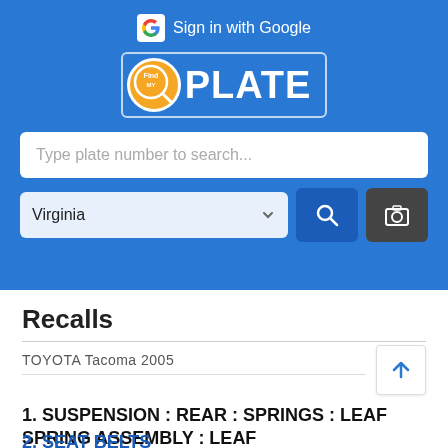[Figure (screenshot): FindPlate app header with Google Sign-in button, FindPlate logo, search bar for plate number, Virginia state selector, search button, and camera button on blue background]
Recalls
TOYOTA Tacoma 2005
1. SUSPENSION : REAR : SPRINGS : LEAF SPRING ASSEMBLY : LEAF
2. SEAT BELTS